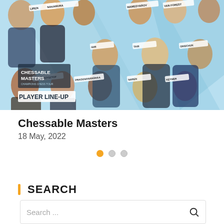[Figure (photo): Chessable Masters player line-up promotional image featuring multiple chess players' headshots arranged on a light blue background with 'CHESSABLE MASTERS' and 'PLAYER LINE-UP' text overlay.]
Chessable Masters
18 May, 2022
[Figure (infographic): Carousel pagination dots: one filled orange dot and two hollow grey dots indicating slide position.]
SEARCH
Search ...